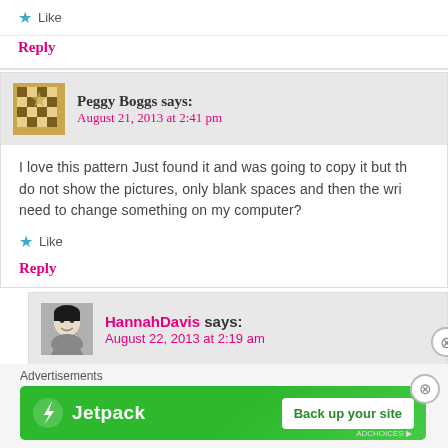Like
Reply
Peggy Boggs says: August 21, 2013 at 2:41 pm
I love this pattern Just found it and was going to copy it but th do not show the pictures, only blank spaces and then the wri need to change something on my computer?
Like
Reply
HannahDavis says: August 22, 2013 at 2:19 am
Advertisements
[Figure (infographic): Jetpack advertisement banner with lightning bolt icon, 'Jetpack' text in white on green background, and 'Back up your site' button]